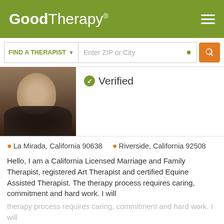GoodTherapy®
FIND A THERAPIST  Enter ZIP or City
✔ Verified
La Mirada, California 90638   Riverside, California 92508
Hello, I am a California Licensed Marriage and Family Therapist, registered Art Therapist and certified Equine Assisted Therapist. The therapy process requires caring, commitment and hard work. I will
Email Me   626-507-2865
GoodTherapy uses cookies to personalize content and ads to provide better services for our users and to analyze our traffic. By continuing to use this site you consent to our cookies.